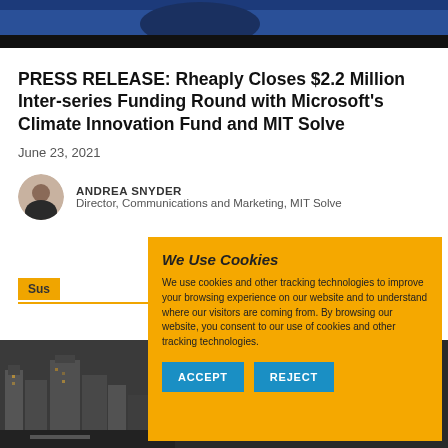[Figure (photo): Top banner photo of a person on stage, dark blue background]
PRESS RELEASE: Rheaply Closes $2.2 Million Inter-series Funding Round with Microsoft's Climate Innovation Fund and MIT Solve
June 23, 2021
ANDREA SNYDER
Director, Communications and Marketing, MIT Solve
Sus
We Use Cookies

We use cookies and other tracking technologies to improve your browsing experience on our website and to understand where our visitors are coming from. By browsing our website, you consent to our use of cookies and other tracking technologies.

ACCEPT   REJECT
[Figure (photo): City street photo showing urban buildings and road at bottom of page]